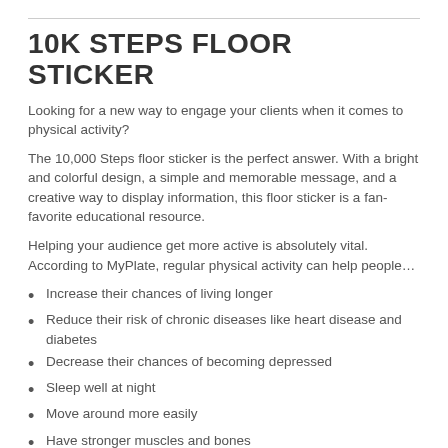10K STEPS FLOOR STICKER
Looking for a new way to engage your clients when it comes to physical activity?
The 10,000 Steps floor sticker is the perfect answer. With a bright and colorful design, a simple and memorable message, and a creative way to display information, this floor sticker is a fan-favorite educational resource.
Helping your audience get more active is absolutely vital. According to MyPlate, regular physical activity can help people…
Increase their chances of living longer
Reduce their risk of chronic diseases like heart disease and diabetes
Decrease their chances of becoming depressed
Sleep well at night
Move around more easily
Have stronger muscles and bones